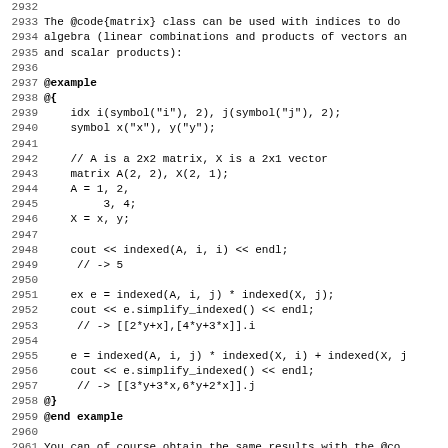2932
2933 The @code{matrix} class can be used with indices to do
2934 algebra (linear combinations and products of vectors an
2935 and scalar products):
2936
2937 @example
2938 @{
2939     idx i(symbol("i"), 2), j(symbol("j"), 2);
2940     symbol x("x"), y("y");
2941
2942     // A is a 2x2 matrix, X is a 2x1 vector
2943     matrix A(2, 2), X(2, 1);
2944     A = 1, 2,
2945          3, 4;
2946     X = x, y;
2947
2948     cout << indexed(A, i, i) << endl;
2949      // -> 5
2950
2951     ex e = indexed(A, i, j) * indexed(X, j);
2952     cout << e.simplify_indexed() << endl;
2953      // -> [[2*y+x],[4*y+3*x]].i
2954
2955     e = indexed(A, i, j) * indexed(X, i) + indexed(X, j
2956     cout << e.simplify_indexed() << endl;
2957      // -> [[3*y+3*x,6*y+2*x]].j
2958 @}
2959 @end example
2960
2961 You can of course obtain the same results with the @co
2962 @code{matrix::mul()} and @code{matrix::trace()} methods
2963 but with indices you don't have to worry about transpo